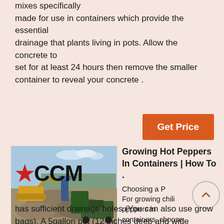mixes specifically made for use in containers which provide the essential drainage that plants living in pots. Allow the concrete to set for at least 24 hours then remove the smaller container to reveal your concrete .
Get Price
[Figure (photo): Photo of a construction/aggregate site with heavy machinery, piles of gravel, and the CCM logo overlaid in the top-left corner.]
Growing Hot Peppers In Containers | How To .
Choosing a P... For growing chili peppers in containers, choose a container that has sufficient drainage holes (You can also use grow bags). A 5gallon pot (12 inches deep and wide similarly)